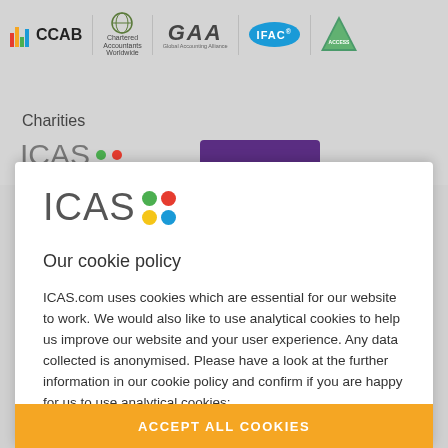[Figure (logo): Navigation bar with logos: CCAB, Chartered Accountants Worldwide, GAA (Global Accounting Alliance), IFAC, and Access Accountants]
Charities
[Figure (logo): Partial ICAS logo and partial purple button visible behind modal overlay]
[Figure (logo): ICAS logo with colorful dots (green, red, yellow, blue)]
Our cookie policy
ICAS.com uses cookies which are essential for our website to work. We would also like to use analytical cookies to help us improve our website and your user experience. Any data collected is anonymised. Please have a look at the further information in our cookie policy and confirm if you are happy for us to use analytical cookies:
ACCEPT ALL COOKIES